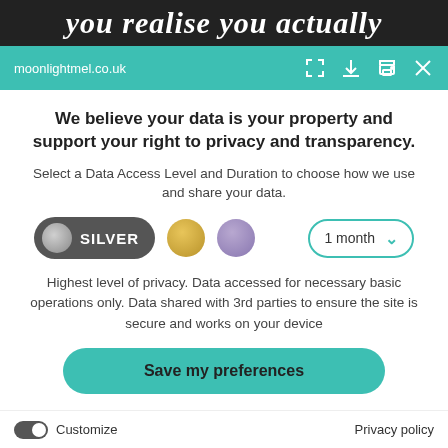[Figure (screenshot): Top browser screenshot strip showing italic text 'you realise you actually' in white on dark background]
moonlightmel.co.uk
We believe your data is your property and support your right to privacy and transparency.
Select a Data Access Level and Duration to choose how we use and share your data.
[Figure (infographic): Data access level selector with SILVER pill (dark grey with grey circle), gold circle, purple circle, and '1 month' dropdown with teal border]
Highest level of privacy. Data accessed for necessary basic operations only. Data shared with 3rd parties to ensure the site is secure and works on your device
[Figure (infographic): Save my preferences button - large teal rounded button]
Customize   Privacy policy